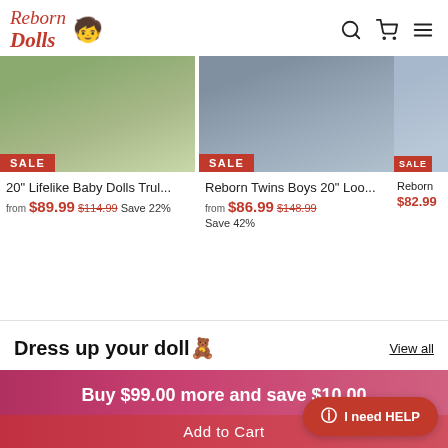Reborn Dolls logo with navigation icons (search, cart, menu)
[Figure (photo): Product image 1: baby doll in green outfit, SALE badge]
20" Lifelike Baby Dolls Trul...
from $89.99 $114.99 Save 22%
[Figure (photo): Product image 2: reborn twin boys in gray elephant outfits, SALE badge]
Reborn Twins Boys 20" Loo...
from $86.99 $148.99 Save 42%
[Figure (photo): Partial product image 3: baby doll in blue, SALE badge, price $82.99]
Reborn
$82.99
Dress up your doll🧸
View all
Buy $99.00 more and save $10.00
Add to Cart
I need HELP